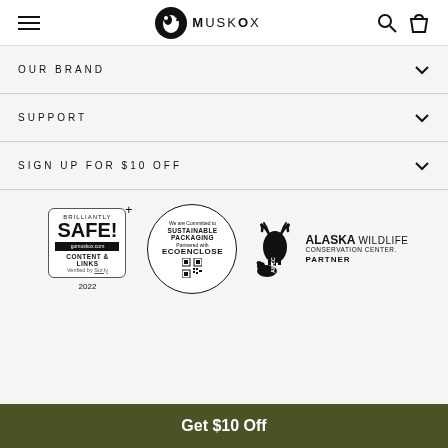MuskOx
OUR BRAND
SUPPORT
SIGN UP FOR $10 OFF
[Figure (logo): Brilliantly SAFE! badge - gomuskox.com, CONTENT & LINKS, Verified by Sur.ly, 2022]
[Figure (logo): We are Committed to SUSTAINABLE PACKAGING, Partnered with ECOENCLOSE, with QR code]
[Figure (logo): AWCC - ALASKA WILDLIFE CONSERVATION CENTER PARTNER logo with animal silhouettes]
Get $10 Off